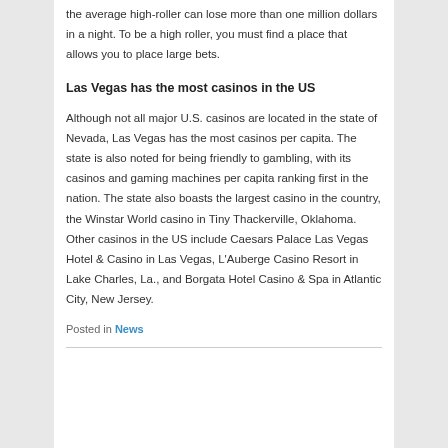the average high-roller can lose more than one million dollars in a night. To be a high roller, you must find a place that allows you to place large bets.
Las Vegas has the most casinos in the US
Although not all major U.S. casinos are located in the state of Nevada, Las Vegas has the most casinos per capita. The state is also noted for being friendly to gambling, with its casinos and gaming machines per capita ranking first in the nation. The state also boasts the largest casino in the country, the Winstar World casino in Tiny Thackerville, Oklahoma. Other casinos in the US include Caesars Palace Las Vegas Hotel & Casino in Las Vegas, L'Auberge Casino Resort in Lake Charles, La., and Borgata Hotel Casino & Spa in Atlantic City, New Jersey.
Posted in News